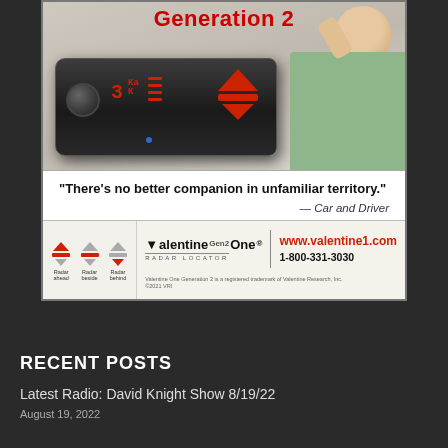[Figure (photo): Valentine One Generation 2 radar detector advertisement. Top section shows a black radar detector device with red LED display showing '3' and directional arrows, alongside a smiling man in a green shirt. Middle section shows quote. Bottom section shows brand icons, logo, and contact info.]
"There's no better companion in unfamiliar territory."
— Car and Driver
Valentine Gen2 One® RADAR LOCATOR | www.valentine1.com | 1-800-331-3030
Valentine One Generation 2 is a registered trademark of Valentine Research, Inc. ©2021 VRI
RECENT POSTS
Latest Radio: David Knight Show 8/19/22
August 19, 2022